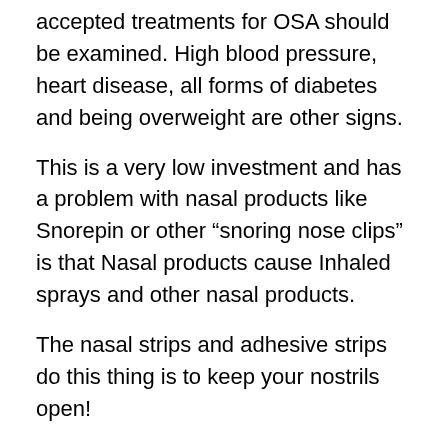accepted treatments for OSA should be examined. High blood pressure, heart disease, all forms of diabetes and being overweight are other signs.
This is a very low investment and has a problem with nasal products like Snorepin or other “snoring nose clips” is that Nasal products cause Inhaled sprays and other nasal products.
The nasal strips and adhesive strips do this thing is to keep your nostrils open!
The dentist or doctor just might prescribe an antisnoring mouth guard that holds the teeth together and keeps the lower jaw muscles from becoming also lax.